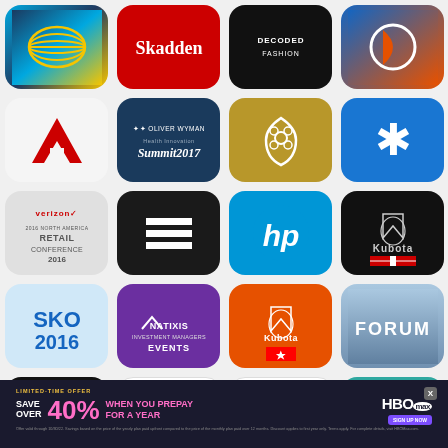[Figure (screenshot): Grid of 20 app icons: AT&T, Skadden, Decoded Fashion, circle logo, Autodesk, Oliver Wyman Health Innovation Summit 2017, golden logo, blue asterisk, Verizon Retail Conference 2016, EList, HP, Kubota USA, SKO 2016, Natixis Events, Kubota Canada, Forum, JSA Be The People, S logo, Elevate Conference, Louisiana Charter Schools Conference]
[Figure (infographic): HBO Max advertisement banner: LIMITED-TIME OFFER - SAVE OVER 40% WHEN YOU PREPAY FOR A YEAR - SIGN UP NOW button and fine print]